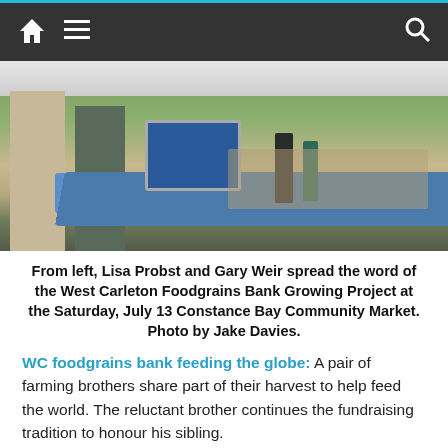Navigation bar with home icon, menu icon, and search icon
[Figure (photo): Photo of Lisa Probst and Gary Weir at a market booth with a blue tablecloth, displaying materials for the West Carleton Foodgrains Bank Growing Project at the Constance Bay Community Market]
From left, Lisa Probst and Gary Weir spread the word of the West Carleton Foodgrains Bank Growing Project at the Saturday, July 13 Constance Bay Community Market. Photo by Jake Davies.
WC foodgrains bank feeding the globe: A pair of farming brothers share part of their harvest to help feed the world. The reluctant brother continues the fundraising tradition to honour his sibling.
[Figure (photo): Photo of a person on stage with hands raised, under a metal truss structure, at an outdoor event]